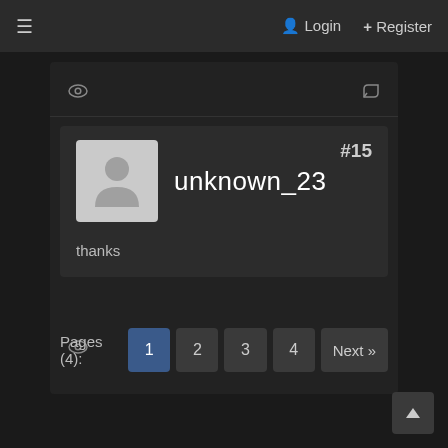≡  Login  + Register
[Figure (screenshot): Eye/view icon in top action bar]
[Figure (screenshot): Reply icon in top action bar]
#15
[Figure (illustration): User avatar placeholder - grey square with silhouette icon]
unknown_23
thanks
[Figure (screenshot): Eye/view icon in bottom action bar]
[Figure (screenshot): Reply icon in bottom action bar]
Pages (4): 1 2 3 4 Next »